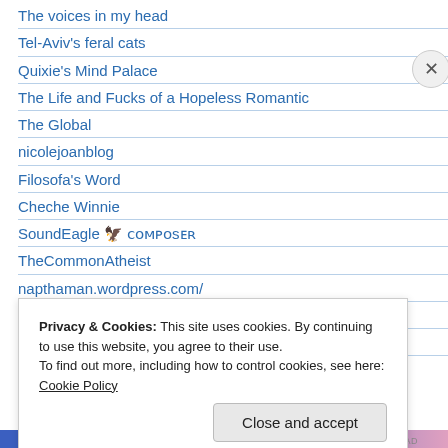The voices in my head
Tel-Aviv's feral cats
Quixie's Mind Palace
The Life and Fucks of a Hopeless Romantic
The Global
nicolejoanblog
Filosofa's Word
Cheche Winnie
SoundEagle 🦅 ᴄᴏᴍᴘᴏsᴇʀ
TheCommonAtheist
napthaman.wordpress.com/
Another Beautiful Day in Chaos
Tikorangi The Jury Garden
Pillows of Life
Privacy & Cookies: This site uses cookies. By continuing to use this website, you agree to their use. To find out more, including how to control cookies, see here: Cookie Policy
Close and accept